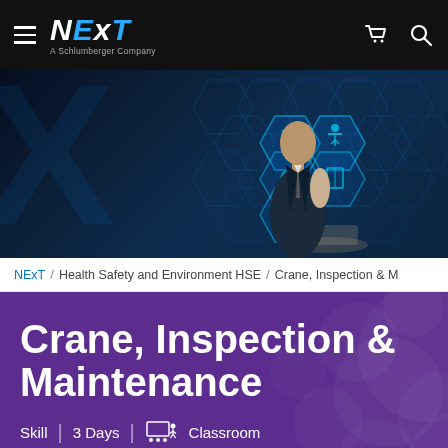NExT — A Schlumberger Company — navigation header with hamburger menu, cart and search icons
[Figure (photo): Hero banner image showing a businessman in a suit touching futuristic hexagonal holographic icons including charts, gears, targets, graduation cap on a dark blue digital background]
NExT / Health Safety and Environment HSE / Crane, Inspection & M
Crane, Inspection & Maintenance
Skill | 3 Days | Classroom